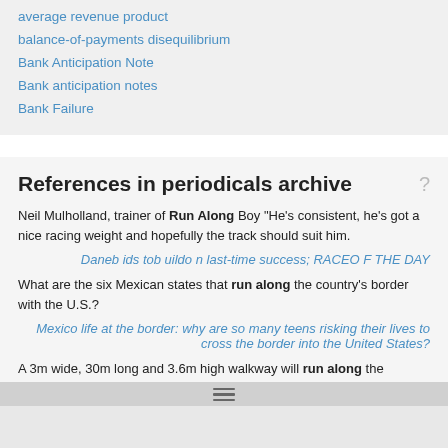average revenue product
balance-of-payments disequilibrium
Bank Anticipation Note
Bank anticipation notes
Bank Failure
References in periodicals archive
Neil Mulholland, trainer of Run Along Boy "He's consistent, he's got a nice racing weight and hopefully the track should suit him.
Daneb ids tob uildo n last-time success; RACEO F THE DAY
What are the six Mexican states that run along the country's border with the U.S.?
Mexico life at the border: why are so many teens risking their lives to cross the border into the United States?
A 3m wide, 30m long and 3.6m high walkway will run along the perimeter of the site, separating the main building from open school grounds; the 6m high cantilevered roof structure of the 10m long open-air stage can be used for plays and events, while providing daytime shade